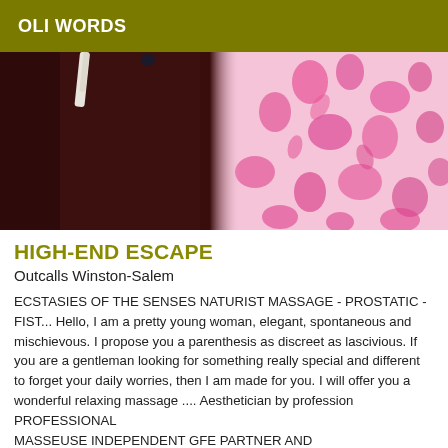OLI WORDS
[Figure (photo): Photo of a bed with dark maroon/burgundy carpet or blanket on the left side and a bright pink floral patterned bedding/pillow on the right side. A white hoodie strap is partially visible at the top.]
HIGH-END ESCAPE
Outcalls Winston-Salem
ECSTASIES OF THE SENSES NATURIST MASSAGE - PROSTATIC - FIST... Hello, I am a pretty young woman, elegant, spontaneous and mischievous. I propose you a parenthesis as discreet as lascivious. If you are a gentleman looking for something really special and different to forget your daily worries, then I am made for you. I will offer you a wonderful relaxing massage .... Aesthetician by profession PROFESSIONAL MASSEUSE INDEPENDENT GFE PARTNER AND